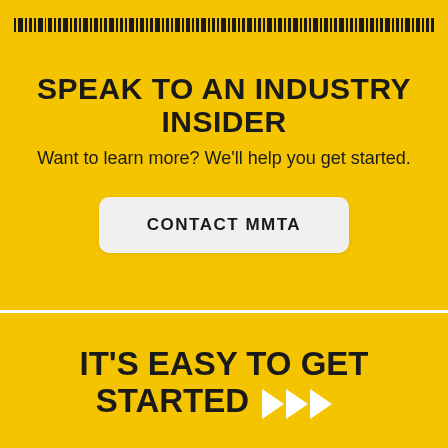[Figure (other): Barcode/dashed strip decorative element across the top]
SPEAK TO AN INDUSTRY INSIDER
Want to learn more? We'll help you get started.
CONTACT MMTA
x
IT'S EASY TO GET STARTED >>>